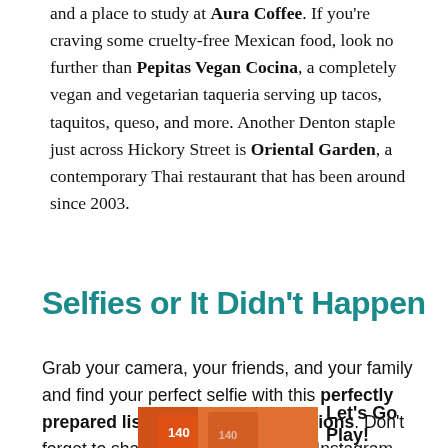and a place to study at Aura Coffee. If you're craving some cruelty-free Mexican food, look no further than Pepitas Vegan Cocina, a completely vegan and vegetarian taqueria serving up tacos, taquitos, queso, and more. Another Denton staple just across Hickory Street is Oriental Garden, a contemporary Thai restaurant that has been around since 2003.
Selfies or It Didn't Happen
Grab your camera, your friends, and your family and find your perfect selfie with this perfectly prepared list of picturesque locations. Don't forget to share your best selfies on Instagram using the hashtag #DiscoverDenton and tag @DiscoverDenton.
[Figure (photo): Advertisement showing children in orange jerseys with text 'Let's Go Play! Fun For the Whole Family' and a close button]